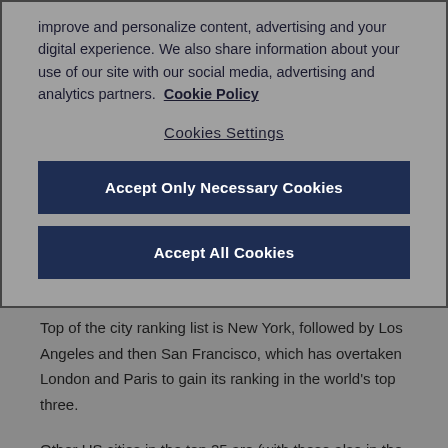improve and personalize content, advertising and your digital experience. We also share information about your use of our site with our social media, advertising and analytics partners.  Cookie Policy
Cookies Settings
Accept Only Necessary Cookies
Accept All Cookies
Top of the city ranking list is New York, followed by Los Angeles and then San Francisco, which has overtaken London and Paris to gain its ranking in the world's top three.
Other US cities in the top 25 are (with those also in the